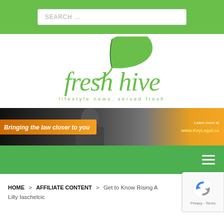SEARCH ...
[Figure (logo): Fresh Hive logo — green leaf above italic green script text 'fresh hive' with tagline 'lifestyle news. served fresh']
[Figure (infographic): Advertisement banner: 'Bringing the law closer to you' with woman in background and 'Learn more at www.KeyLegal.ca']
Navigation menu bar with hamburger icon
HOME > AFFILIATE CONTENT > Get to Know Rising A... Lilly Iaschelcic